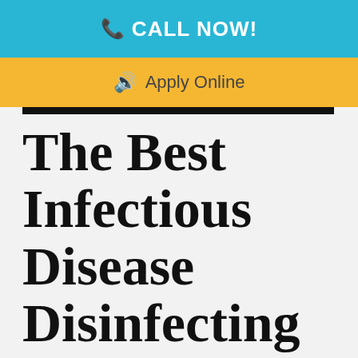CALL NOW!
Apply Online
The Best Infectious Disease Disinfecting Company in